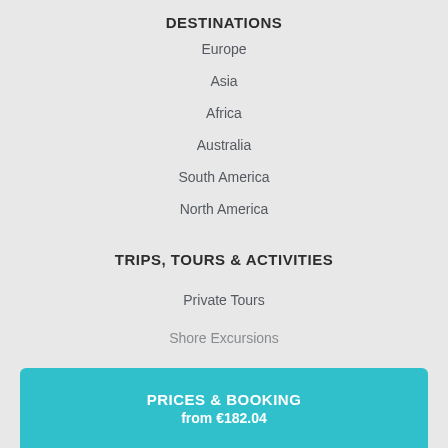DESTINATIONS
Europe
Asia
Africa
Australia
South America
North America
TRIPS, TOURS & ACTIVITIES
Private Tours
Shore Excursions
PRICES & BOOKING
from €182.04